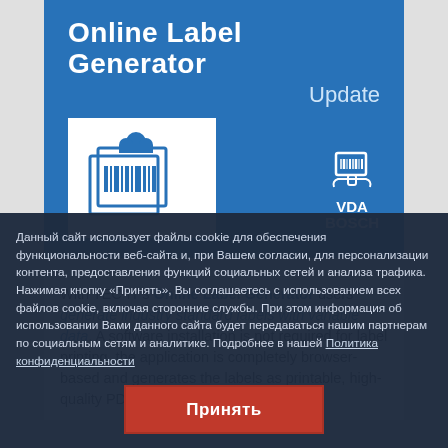Online Label Generator Update
[Figure (illustration): White box containing icon of stacked documents with barcode and cloud above, representing online label generation. To the right: small icon of hand holding barcode scanner with text VDA BOSCH below.]
With TEC-IT's Online Label Generator users generate industry standard labels with variable data. A software installation is not required for label printing, the application is completely browser-based and generates the labels as printable, high-quality PDFs.
Данный сайт использует файлы cookie для обеспечения функциональности веб-сайта и, при Вашем согласии, для персонализации контента, предоставления функций социальных сетей и анализа трафика. Нажимая кнопку «Принять», Вы соглашаетесь с использованием всех файлов cookie, включая сторонние службы. При этом информация об использовании Вами данного сайта будет передаваться нашим партнерам по социальным сетям и аналитике. Подробнее в нашей Политика конфиденциальности
Принять